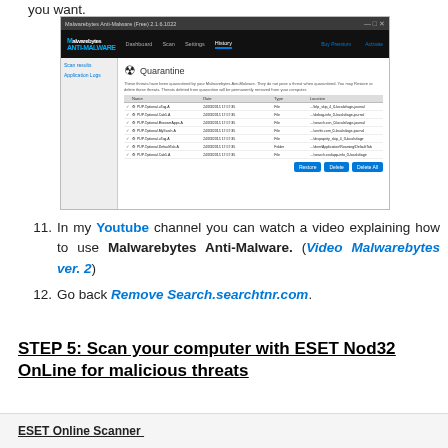you want.
[Figure (screenshot): Malwarebytes Anti-Malware Quarantine screen showing a list of quarantined threats with checkboxes and Restore, Delete, Delete All buttons.]
11. In my Youtube channel you can watch a video explaining how to use Malwarebytes Anti-Malware. (Video Malwarebytes ver. 2)
12. Go back Remove Search.searchtnr.com.
STEP 5: Scan your computer with ESET Nod32 OnLine for malicious threats
[Figure (screenshot): Gray box at bottom with partially visible ESET Online Scanner text.]